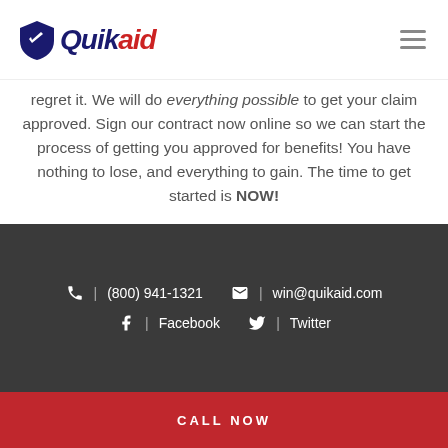Quikaid
regret it. We will do everything possible to get your claim approved. Sign our contract now online so we can start the process of getting you approved for benefits! You have nothing to lose, and everything to gain. The time to get started is NOW!
HIRE AMERICA'S DISABILITY EXPERTS® NOW
(800) 941-1321 | win@quikaid.com | Facebook | Twitter | CALL NOW